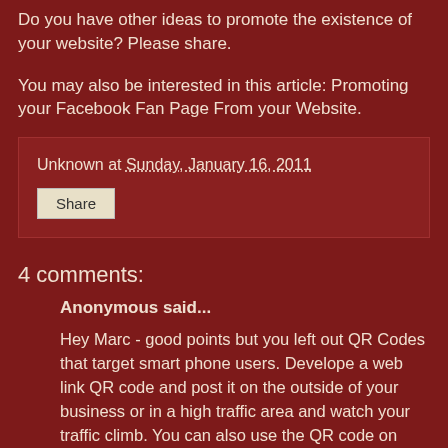Do you have other ideas to promote the existence of your website? Please share.
You may also be interested in this article: Promoting your Facebook Fan Page From your Website.
Unknown at Sunday, January 16, 2011
Share
4 comments:
Anonymous said...
Hey Marc - good points but you left out QR Codes that target smart phone users. Develope a web link QR code and post it on the outside of your business or in a high traffic area and watch your traffic climb. You can also use the QR code on your direct mail pieces and find out where people are scanning it from through the smart phone GPS. Cool way to drive tech savvy people to your site, they are also the demographic with the highest level of income so most likely to